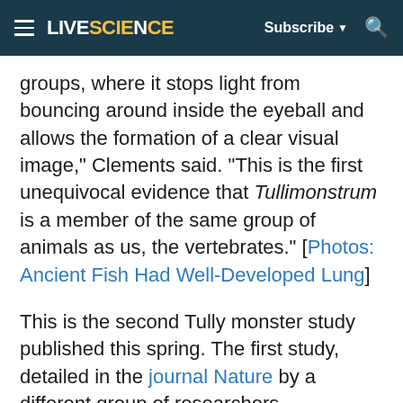LIVESCIENCE — Subscribe ▼ 🔍
groups, where it stops light from bouncing around inside the eyeball and allows the formation of a clear visual image," Clements said. "This is the first unequivocal evidence that Tullimonstrum is a member of the same group of animals as us, the vertebrates." [Photos: Ancient Fish Had Well-Developed Lung]
This is the second Tully monster study published this spring. The first study, detailed in the journal Nature by a different group of researchers, characterized the monster as an ancient jawless fish. Before reaching that conclusion, they examined more than 1,200 Tully monster fossils before describing it as a weird, Dr.